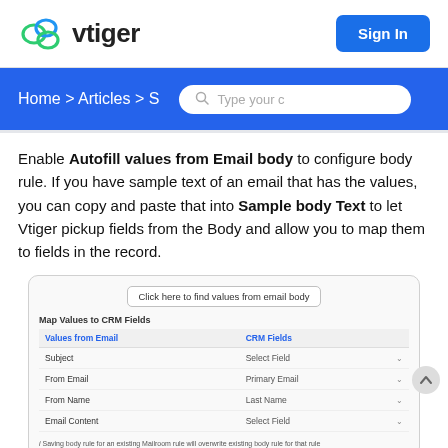[Figure (logo): vtiger logo with cloud icon and 'vtiger' text, plus Sign In button]
Home > Articles > S   [Search: Type your c]
Enable Autofill values from Email body to configure body rule. If you have sample text of an email that has the values, you can copy and paste that into Sample body Text to let Vtiger pickup fields from the Body and allow you to map them to fields in the record.
[Figure (screenshot): UI screenshot showing 'Click here to find values from email body' button, 'Map Values to CRM Fields' label, and a table with columns 'Values from Email' and 'CRM Fields'. Rows: Subject/Select Field, From Email/Primary Email, From Name/Last Name, Email Content/Select Field. Footer note: 'i Saving body rule for an existing Mailroom rule will overwrite existing body rule for that rule']